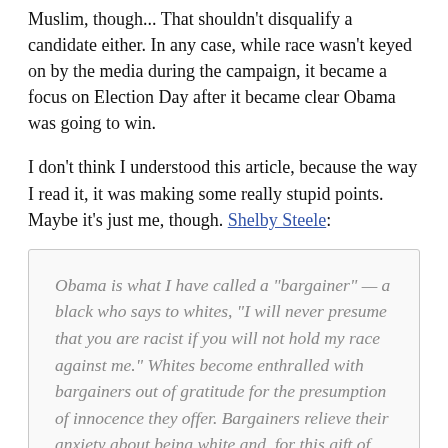Muslim, though... That shouldn't disqualify a candidate either. In any case, while race wasn't keyed on by the media during the campaign, it became a focus on Election Day after it became clear Obama was going to win.
I don't think I understood this article, because the way I read it, it was making some really stupid points. Maybe it's just me, though. Shelby Steele:
Obama is what I have called a "bargainer" — a black who says to whites, "I will never presume that you are racist if you will not hold my race against me." Whites become enthralled with bargainers out of gratitude for the presumption of innocence they offer. Bargainers relieve their anxiety about being white and, for this gift of trust, bargainers are often rewarded with a kind of halo.
The people who voted against Obama didn't do it because of race, they did it because of class. Bernard Avishai: